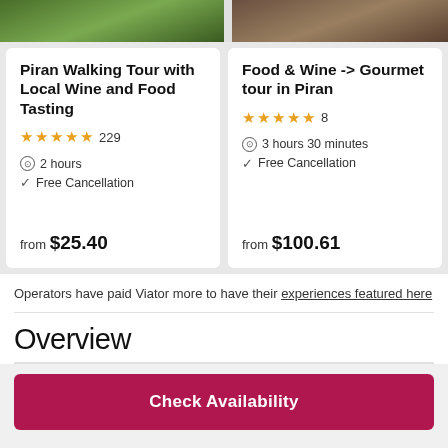[Figure (photo): Two product/tour cards shown side by side. Left card: Piran Walking Tour with Local Wine and Food Tasting, 5 stars, 229 reviews, 2 hours, Free Cancellation, from $25.40. Right card: Food & Wine -> Gourmet tour in Piran, 5 stars, 8 reviews, 3 hours 30 minutes, Free Cancellation, from $100.61.]
Operators have paid Viator more to have their experiences featured here
Overview
Check Availability